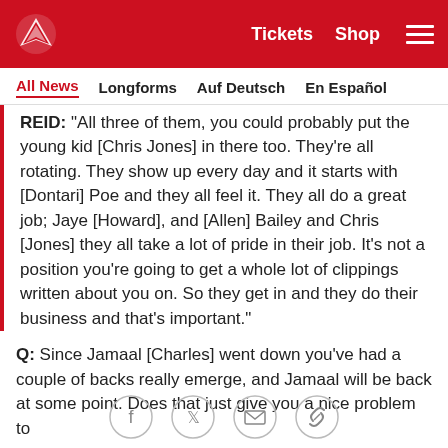Kansas City Chiefs – Tickets  Shop
All News  Longforms  Auf Deutsch  En Español
REID: "All three of them, you could probably put the young kid [Chris Jones] in there too. They're all rotating. They show up every day and it starts with [Dontari] Poe and they all feel it. They all do a great job; Jaye [Howard], and [Allen] Bailey and Chris [Jones] they all take a lot of pride in their job. It's not a position you're going to get a whole lot of clippings written about you on. So they get in and they do their business and that's important."
Q: Since Jamaal [Charles] went down you've had a couple of backs really emerge, and Jamaal will be back at some point. Does that just give you a nice problem to